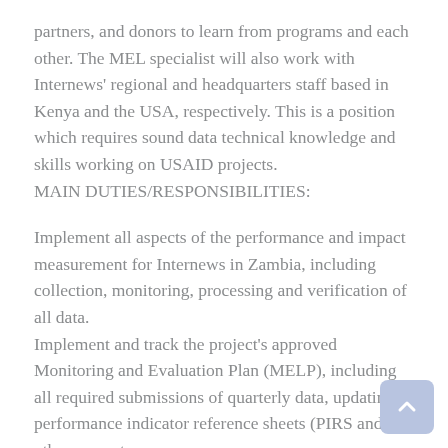partners, and donors to learn from programs and each other. The MEL specialist will also work with Internews' regional and headquarters staff based in Kenya and the USA, respectively. This is a position which requires sound data technical knowledge and skills working on USAID projects.
MAIN DUTIES/RESPONSIBILITIES:
Implement all aspects of the performance and impact measurement for Internews in Zambia, including collection, monitoring, processing and verification of all data.
Implement and track the project's approved Monitoring and Evaluation Plan (MELP), including all required submissions of quarterly data, updating of performance indicator reference sheets (PIRS and any other requests.